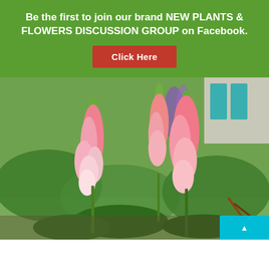Be the first to join our brand NEW PLANTS & FLOWERS DISCUSSION GROUP on Facebook.
Click Here
[Figure (photo): Two tall pink lupine flower spikes in a garden setting with green foliage and purple flowers in the background, and a house with teal shutters visible.]